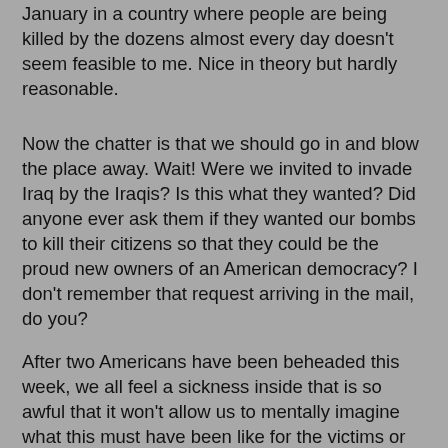January in a country where people are being killed by the dozens almost every day doesn't seem feasible to me. Nice in theory but hardly reasonable.
Now the chatter is that we should go in and blow the place away. Wait! Were we invited to invade Iraq by the Iraqis? Is this what they wanted? Did anyone ever ask them if they wanted our bombs to kill their citizens so that they could be the proud new owners of an American democracy? I don't remember that request arriving in the mail, do you?
After two Americans have been beheaded this week, we all feel a sickness inside that is so awful that it won't allow us to mentally imagine what this must have been like for the victims or their families. This is what the installation of democracy looks like? Is it any wonder that this whole picture of the Iraq war is beginning to turn our stomachs? We should be questioning who is the enemy and why. This isn't a traditional war as we have learned about in history books. This is a war with new rules but the results are the same,